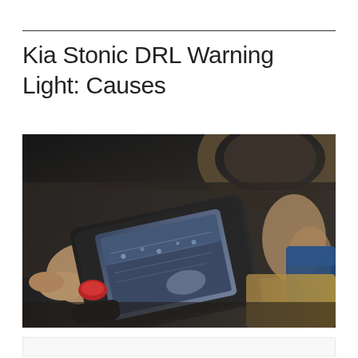Kia Stonic DRL Warning Light: Causes
[Figure (photo): A mechanic or technician holding a diagnostic scan tool device with a screen display, photographed inside a vehicle near the steering wheel. The device has a black casing with a red trigger, and the screen shows some kind of diagnostic display. A person's hand is visible in the background near the car interior.]